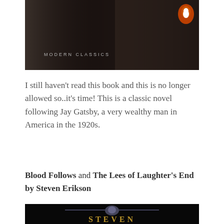[Figure (photo): Book cover with dark background showing 'MODERN CLASSICS' text and Penguin Books logo in top right corner]
I still haven't read this book and this is no longer allowed so..it's time! This is a classic novel following Jay Gatsby, a very wealthy man in America in the 1920s.
Blood Follows and The Lees of Laughter's End by Steven Erikson
[Figure (photo): Dark book cover for Steven Erikson with a metallic skull/armor emblem and the author name STEVEN at the bottom in gold letters]